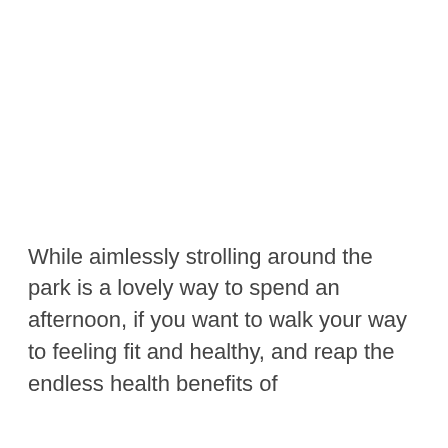While aimlessly strolling around the park is a lovely way to spend an afternoon, if you want to walk your way to feeling fit and healthy, and reap the endless health benefits of